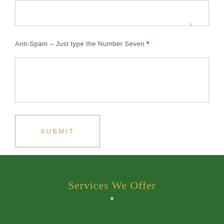Anti-Spam - Just type the Number Seven *
SUBMIT
Services We Offer